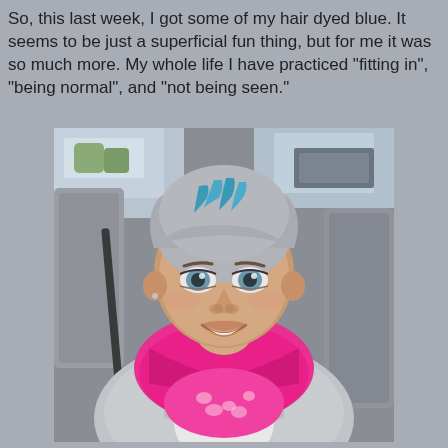So, this last week, I got some of my hair dyed blue. It seems to be just a superficial fun thing, but for me it was so much more. My whole life I have practiced "fitting in", "being normal", and "not being seen."
[Figure (photo): A woman with short gray hair with blue highlights, smiling, wearing a bright pink/magenta scarf and gray cardigan, sitting in a car. She is taking a selfie.]